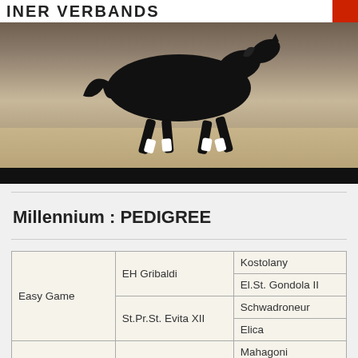[Figure (photo): A black horse trotting in an arena with white leg wraps, banner reading VERBANDS in background, photo taken indoors]
Millennium : PEDIGREE
| Column1 | Column2 | Column3 |
| --- | --- | --- |
| Easy Game | EH Gribaldi | Kostolany |
| Easy Game | EH Gribaldi | El.St. Gondola II |
| Easy Game | St.Pr.St. Evita XII | Schwadroneur |
| Easy Game | St.Pr.St. Evita XII | Elica |
| Vb.Pr.St. Merle | EH Ravel | Mahagoni |
| Vb.Pr.St. Merle | EH Ravel | Rauhe |
| Vb.Pr.St. Merle |  | EH Goncu |